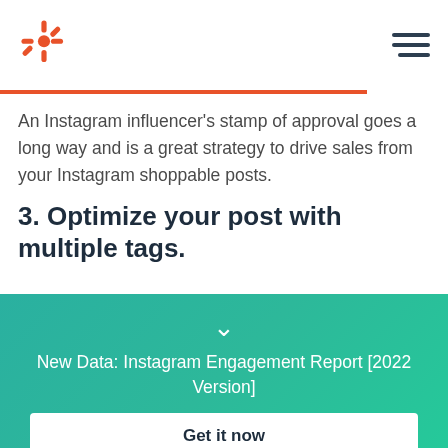HubSpot logo and navigation menu
An Instagram influencer's stamp of approval goes a long way and is a great strategy to drive sales from your Instagram shoppable posts.
3. Optimize your post with multiple tags.
New Data: Instagram Engagement Report [2022 Version]
Get it now